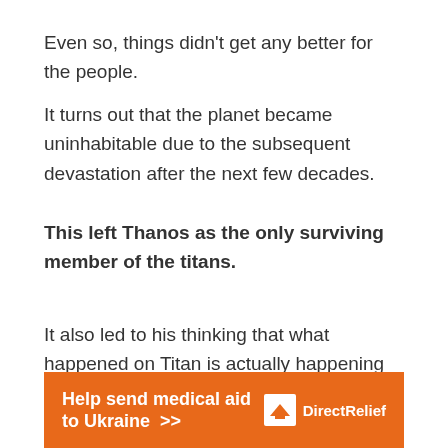Even so, things didn't get any better for the people.
It turns out that the planet became uninhabitable due to the subsequent devastation after the next few decades.
This left Thanos as the only surviving member of the titans.
It also led to his thinking that what happened on Titan is actually happening throughout the universe, that creatures are infinitely growing in a universe with finite resources.
He didn't want what happened in his homeworld to
[Figure (infographic): Orange advertisement banner: 'Help send medical aid to Ukraine >>' with Direct Relief logo on the right]